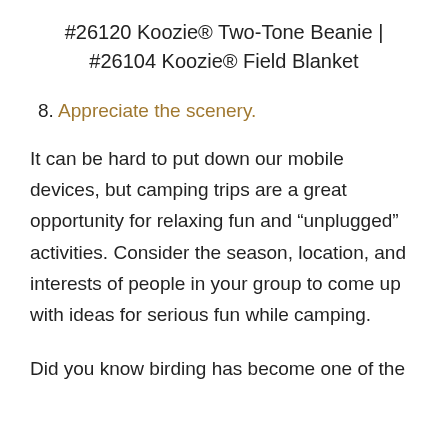#26120 Koozie® Two-Tone Beanie | #26104 Koozie® Field Blanket
8. Appreciate the scenery.
It can be hard to put down our mobile devices, but camping trips are a great opportunity for relaxing fun and “unplugged” activities. Consider the season, location, and interests of people in your group to come up with ideas for serious fun while camping.
Did you know birding has become one of the